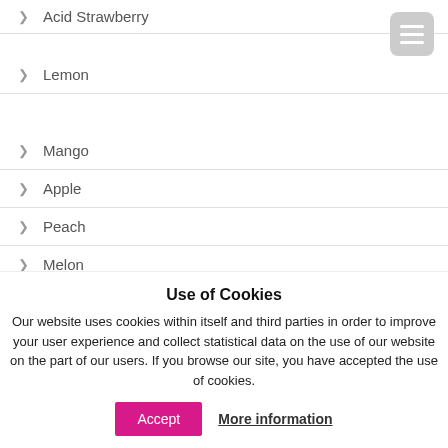Acid Strawberry
Lemon
Mango
Apple
Peach
Melon
Use of Cookies
Our website uses cookies within itself and third parties in order to improve your user experience and collect statistical data on the use of our website on the part of our users. If you browse our site, you have accepted the use of cookies.
Accept  More information